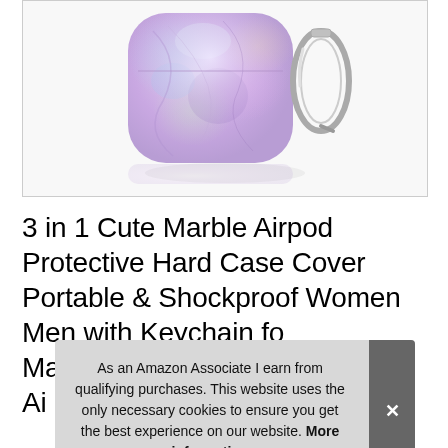[Figure (photo): A purple/lavender tie-dye marble patterned AirPod case with a silver carabiner keychain clip attached to the right side, shown on a white background with a subtle reflection below.]
3 in 1 Cute Marble Airpod Protective Hard Case Cover Portable & Shockproof Women Men with Keychain for Ma Ai
As an Amazon Associate I earn from qualifying purchases. This website uses the only necessary cookies to ensure you get the best experience on our website. More information